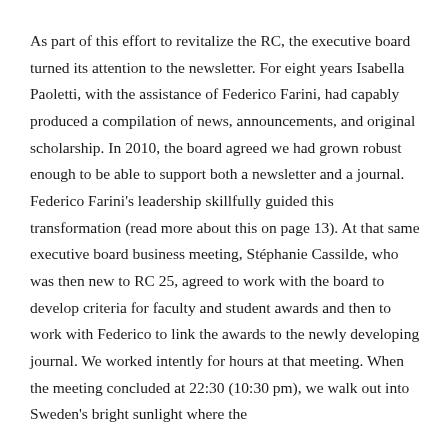As part of this effort to revitalize the RC, the executive board turned its attention to the newsletter. For eight years Isabella Paoletti, with the assistance of Federico Farini, had capably produced a compilation of news, announcements, and original scholarship. In 2010, the board agreed we had grown robust enough to be able to support both a newsletter and a journal. Federico Farini's leadership skillfully guided this transformation (read more about this on page 13). At that same executive board business meeting, Stéphanie Cassilde, who was then new to RC 25, agreed to work with the board to develop criteria for faculty and student awards and then to work with Federico to link the awards to the newly developing journal. We worked intently for hours at that meeting. When the meeting concluded at 22:30 (10:30 pm), we walk out into Sweden's bright sunlight where the